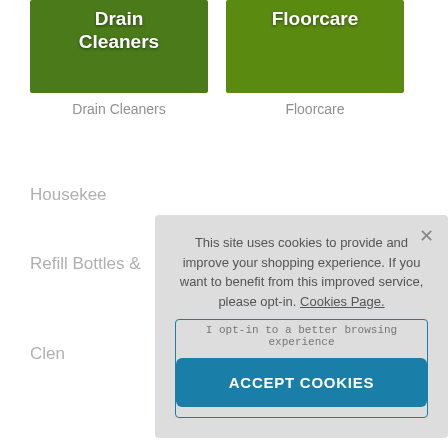[Figure (photo): Product category tile showing Drain Cleaners with green background and drain imagery, white bold text 'Drain Cleaners']
[Figure (photo): Product category tile showing Floorcare with green background, white bold text 'Floorcare']
Drain Cleaners
Floorcare
Housekee…
Refill Bottles &…
This site uses cookies to provide and improve your shopping experience. If you want to benefit from this improved service, please opt-in. Cookies Page.
I opt-in to a better browsing experience
ACCEPT COOKIES
Clen…